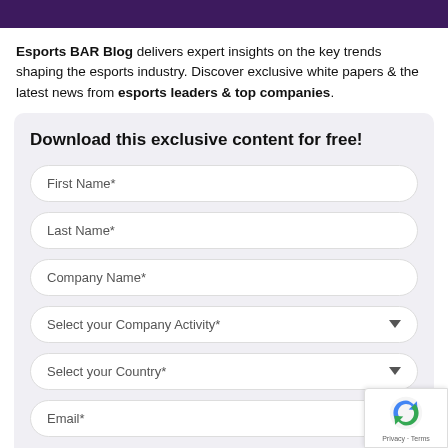[Figure (other): Dark purple banner header strip at top of page]
Esports BAR Blog delivers expert insights on the key trends shaping the esports industry. Discover exclusive white papers & the latest news from esports leaders & top companies.
Download this exclusive content for free!
First Name*
Last Name*
Company Name*
Select your Company Activity*
Select your Country*
Email*